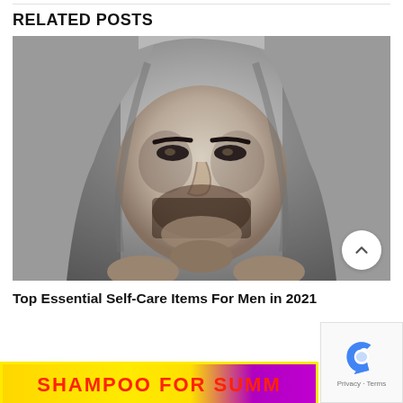RELATED POSTS
[Figure (photo): Black and white close-up portrait of a man with a beard wearing a grey hoodie pulled up around his face, looking intensely at the camera]
Top Essential Self-Care Items For Men in 2021
[Figure (other): Yellow and purple advertisement banner with red bold text reading SHAMPOO FOR SUMMER (partially visible)]